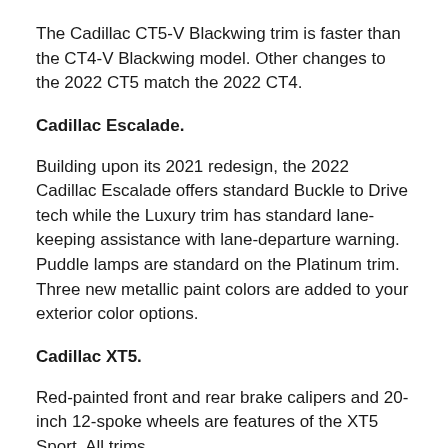The Cadillac CT5-V Blackwing trim is faster than the CT4-V Blackwing model. Other changes to the 2022 CT5 match the 2022 CT4.
Cadillac Escalade.
Building upon its 2021 redesign, the 2022 Cadillac Escalade offers standard Buckle to Drive tech while the Luxury trim has standard lane-keeping assistance with lane-departure warning. Puddle lamps are standard on the Platinum trim. Three new metallic paint colors are added to your exterior color options.
Cadillac XT5.
Red-painted front and rear brake calipers and 20-inch 12-spoke wheels are features of the XT5 Sport. All trims feature standard Buckle to Drive technology.